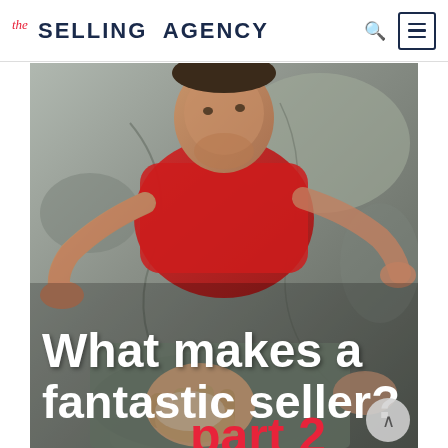the SELLING AGENCY
[Figure (photo): A man in a red shirt rock climbing, gripping a rock face with both hands. Overlaid text reads 'What makes a fantastic seller? part 2']